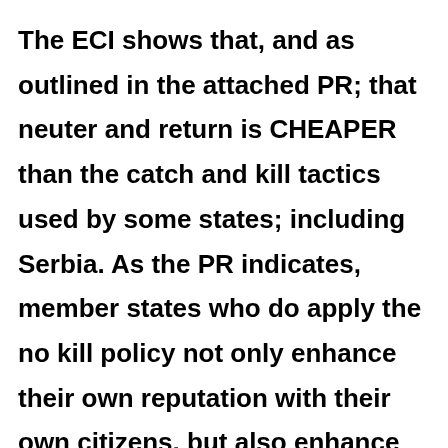The ECI shows that, and as outlined in the attached PR; that neuter and return is CHEAPER than the catch and kill tactics used by some states; including Serbia. As the PR indicates, member states who do apply the no kill policy not only enhance their own reputation with their own citizens, but also enhance their reputation with citizens from abroad and